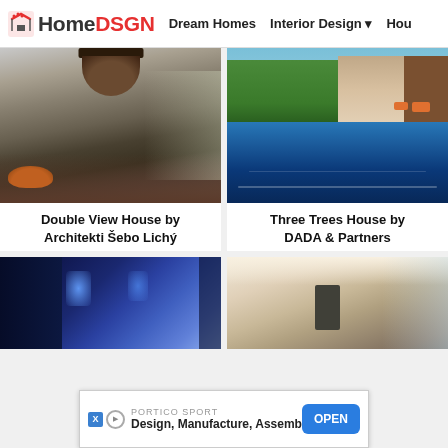HomeDSGN | Dream Homes | Interior Design | Hou
[Figure (photo): Interior living room with hanging fireplace, large pendant lamp, wooden floor, sofa, and floor-to-ceiling windows]
Double View House by Architekti Šebo Lichý
[Figure (photo): Modern house exterior with large swimming pool, trees in background, mid-century modern architecture]
Three Trees House by DADA & Partners
[Figure (photo): Blue-toned interior or window view with curtains at night]
[Figure (photo): Modern interior with high ceilings and large glass windows]
PORTICO SPORT
Design, Manufacture, Assembly
OPEN